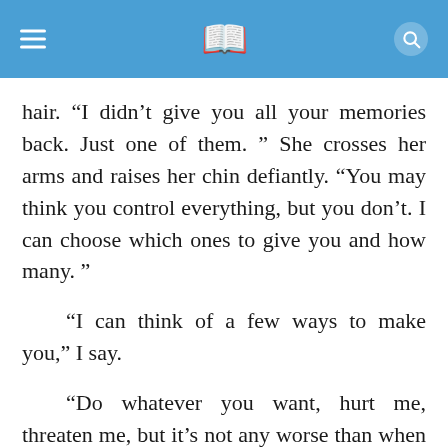hair. “I didn’t give you all your memories back. Just one of them. ” She crosses her arms and raises her chin defiantly. “You may think you control everything, but you don’t. I can choose which ones to give you and how many. ”
“I can think of a few ways to make you,” I say.
“Do whatever you want, hurt me, threaten me, but it’s not any worse than when I have to be that way. ” She stalks forward, getting in my face. “Do you have any idea what that’s like? To completely lose control over your mind and body.”